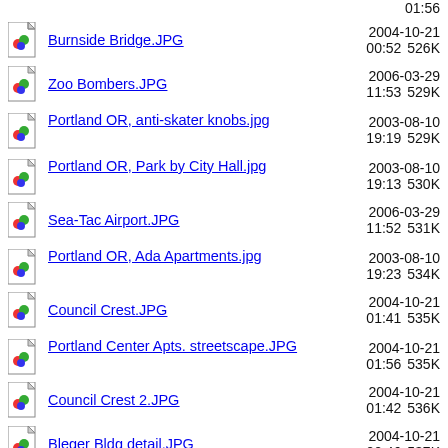01:56 (partial, top of page)
Burnside Bridge.JPG  2004-10-21 00:52  526K
Zoo Bombers.JPG  2006-03-29 11:53  529K
Portland OR, anti-skater knobs.jpg  2003-08-10 19:19  529K
Portland OR, Park by City Hall.jpg  2003-08-10 19:13  530K
Sea-Tac Airport.JPG  2006-03-29 11:52  531K
Portland OR, Ada Apartments.jpg  2003-08-10 19:23  534K
Council Crest.JPG  2004-10-21 01:41  535K
Portland Center Apts. streetscape.JPG  2004-10-21 01:56  535K
Council Crest 2.JPG  2004-10-21 01:42  536K
Bleger Bldg detail.JPG  2004-10-21 00:46  537K
Burnside Bridge open.JPG  2004-10-21 00:55  538K